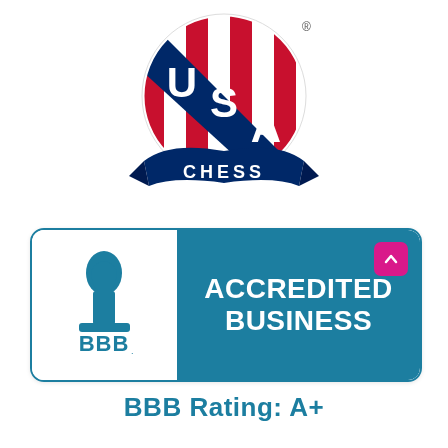[Figure (logo): USA Chess logo: circular badge with red and white vertical stripes and a blue diagonal band with white stars, topped with a registered trademark symbol, and a blue ribbon banner at the bottom reading CHESS in white capital letters]
[Figure (logo): Better Business Bureau (BBB) Accredited Business badge: white left panel with blue BBB torch logo and BBB text, teal right panel with white bold text ACCREDITED BUSINESS, and a magenta scroll-to-top button in the upper right corner]
BBB Rating: A+